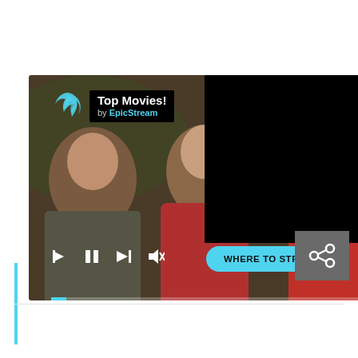[Figure (screenshot): A video player screenshot showing a movie scene with actors, branded with 'Top Movies! by EpicStream' logo overlay. Controls visible: skip back, pause, skip forward, mute buttons. A cyan 'WHERE TO STREAM' button is on the right. A progress bar is at the bottom. A share icon button is visible at the bottom-right. A vertical cyan line and horizontal divider appear below the player.]